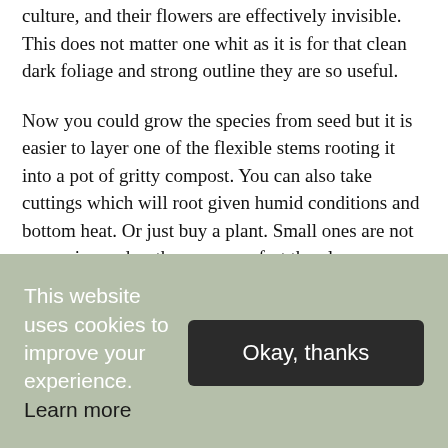culture, and their flowers are effectively invisible. This does not matter one whit as it is for that clean dark foliage and strong outline they are so useful.
Now you could grow the species from seed but it is easier to layer one of the flexible stems rooting it into a pot of gritty compost. You can also take cuttings which will root given humid conditions and bottom heat. Or just buy a plant. Small ones are not expensive and as they grow so fast then large ones are often disposed of in classified ads for very little when they have become too big for their first home.
This website uses cookies to improve your experience. Learn more